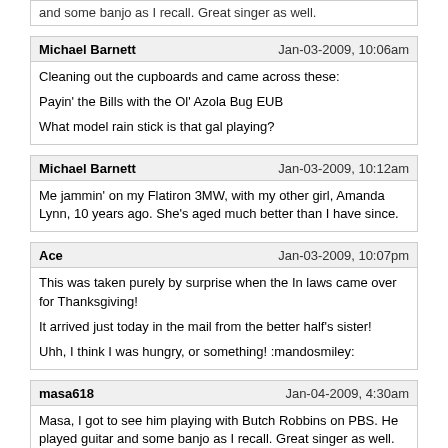and some banjo as I recall. Great singer as well.
Michael Barnett
Jan-03-2009, 10:06am
Cleaning out the cupboards and came across these:
Payin' the Bills with the Ol' Azola Bug EUB
What model rain stick is that gal playing?
Michael Barnett
Jan-03-2009, 10:12am
Me jammin' on my Flatiron 3MW, with my other girl, Amanda Lynn, 10 years ago. She's aged much better than I have since.
Ace
Jan-03-2009, 10:07pm
This was taken purely by surprise when the In laws came over for Thanksgiving!
It arrived just today in the mail from the better half's sister!
Uhh, I think I was hungry, or something! :mandosmiley:
masa618
Jan-04-2009, 4:30am
Masa, I got to see him playing with Butch Robbins on PBS. He played guitar and some banjo as I recall. Great singer as well.
Thank you Steven,
I have you know my younger brother, and thank you.
This photograph is a thing when I competed as brothers on the live broadcasting that he performs every month in December of the last year.